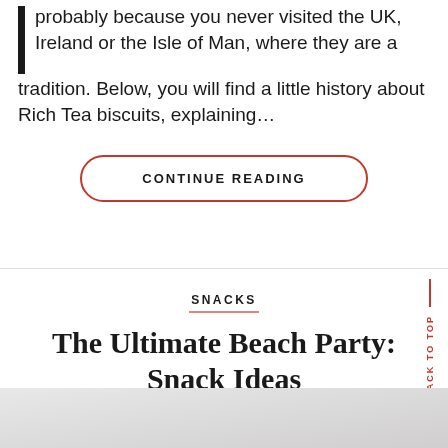probably because you never visited the UK, Ireland or the Isle of Man, where they are a tradition. Below, you will find a little history about Rich Tea biscuits, explaining...
CONTINUE READING
SNACKS
The Ultimate Beach Party: Snack Ideas
[Figure (photo): Bottom portion of a photo, appears light/white background with a slight pinkish blur in the lower right corner]